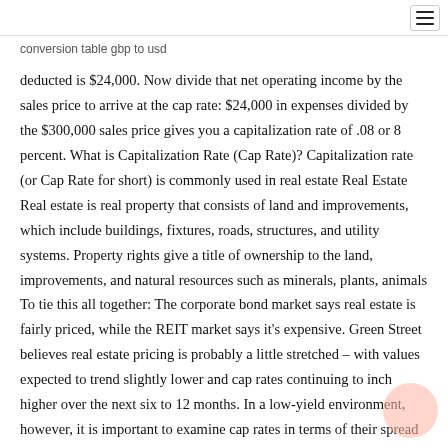conversion table gbp to usd
deducted is $24,000. Now divide that net operating income by the sales price to arrive at the cap rate: $24,000 in expenses divided by the $300,000 sales price gives you a capitalization rate of .08 or 8 percent. What is Capitalization Rate (Cap Rate)? Capitalization rate (or Cap Rate for short) is commonly used in real estate Real Estate Real estate is real property that consists of land and improvements, which include buildings, fixtures, roads, structures, and utility systems. Property rights give a title of ownership to the land, improvements, and natural resources such as minerals, plants, animals To tie this all together: The corporate bond market says real estate is fairly priced, while the REIT market says it's expensive. Green Street believes real estate pricing is probably a little stretched – with values expected to trend slightly lower and cap rates continuing to inch higher over the next six to 12 months. In a low-yield environment, however, it is important to examine cap rates in terms of their spread to Treasury yields, as this represents the